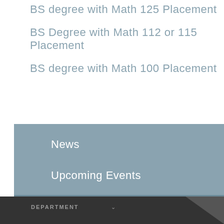BS degree with Math 125 Placement
BS Degree with Math 112 or 115 Placement
BS degree with Math 100 Placement
News
Upcoming Events
DEPARTMENT